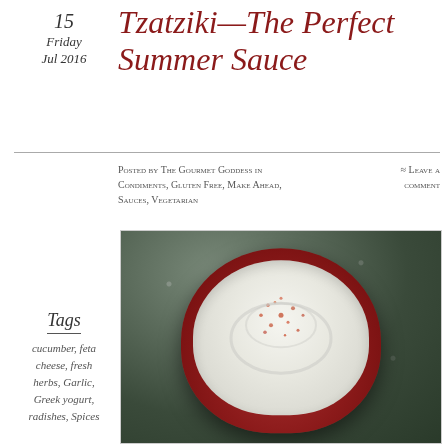15
Friday
Jul 2016
Tzatziki—The Perfect Summer Sauce
Posted by The Gourmet Goddess in Condiments, Gluten Free, Make Ahead, Sauces, Vegetarian
≈ Leave a comment
Tags
cucumber, feta cheese, fresh herbs, Garlic, Greek yogurt, radishes, Spices
[Figure (photo): A red square bowl filled with tzatziki sauce (white creamy dip) topped with red spices, photographed on a granite countertop]